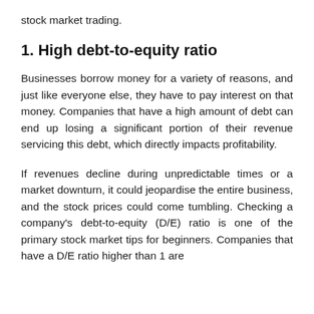stock market trading.
1. High debt-to-equity ratio
Businesses borrow money for a variety of reasons, and just like everyone else, they have to pay interest on that money. Companies that have a high amount of debt can end up losing a significant portion of their revenue servicing this debt, which directly impacts profitability.
If revenues decline during unpredictable times or a market downturn, it could jeopardise the entire business, and the stock prices could come tumbling. Checking a company's debt-to-equity (D/E) ratio is one of the primary stock market tips for beginners. Companies that have a D/E ratio higher than 1 are